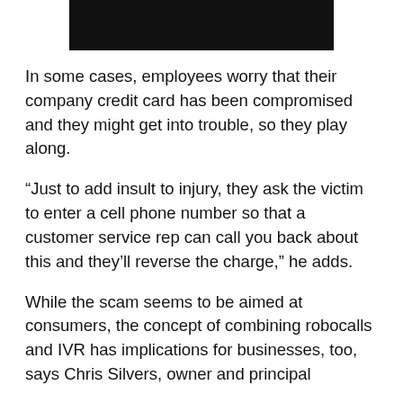[Figure (photo): Dark/black rectangular image block at top of page]
In some cases, employees worry that their company credit card has been compromised and they might get into trouble, so they play along.
“Just to add insult to injury, they ask the victim to enter a cell phone number so that a customer service rep can call you back about this and they’ll reverse the charge,” he adds.
While the scam seems to be aimed at consumers, the concept of combining robocalls and IVR has implications for businesses, too, says Chris Silvers, owner and principal